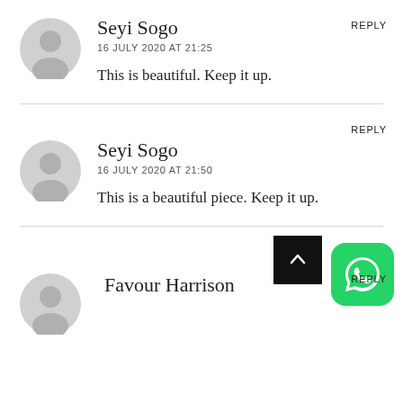[Figure (illustration): Gray circular avatar icon for Seyi Sogo comment 1]
Seyi Sogo
16 JULY 2020 AT 21:25
REPLY
This is beautiful. Keep it up.
[Figure (illustration): Gray circular avatar icon for Seyi Sogo comment 2]
Seyi Sogo
16 JULY 2020 AT 21:50
REPLY
This is a beautiful piece. Keep it up.
[Figure (illustration): Black scroll-to-top button with upward chevron]
[Figure (illustration): WhatsApp green icon button]
[Figure (illustration): Gray circular avatar icon for Favour Harrison (partial)]
Favour Harrison
REPLY